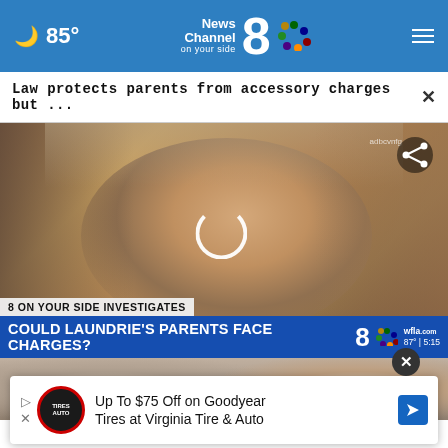85° | News Channel 8 on your side
Law protects parents from accessory charges but ...
[Figure (screenshot): Video thumbnail showing a man wearing sunglasses and a cap, with a TV news lower-third overlay reading '8 ON YOUR SIDE INVESTIGATES / COULD LAUNDRIE'S PARENTS FACE CHARGES?' with WFLA news branding, 87°|5:15 temperature/time. A share icon and loading spinner are visible.]
Up To $75 Off on Goodyear Tires at Virginia Tire & Auto